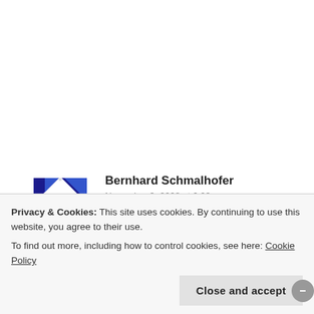Bernhard Schmalhofer
November 9, 2008 at 6:02 am
Well,
you claim that PHP is better suited for Web-development than Perl, Ruby and Python. I disagree. Perl, Ruby and Python each have great frameworks and are better designed languages.
Privacy & Cookies: This site uses cookies. By continuing to use this website, you agree to their use.
To find out more, including how to control cookies, see here: Cookie Policy
Close and accept